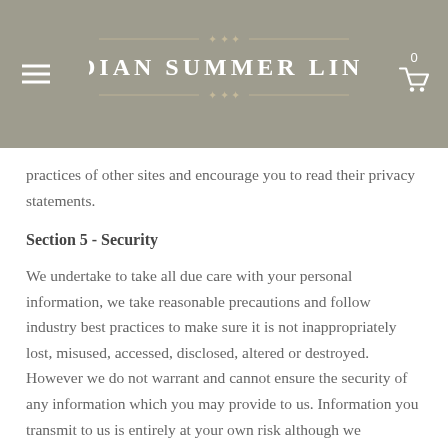INDIAN SUMMER LINEN
practices of other sites and encourage you to read their privacy statements.
Section 5 - Security
We undertake to take all due care with your personal information, we take reasonable precautions and follow industry best practices to make sure it is not inappropriately lost, misused, accessed, disclosed, altered or destroyed. However we do not warrant and cannot ensure the security of any information which you may provide to us. Information you transmit to us is entirely at your own risk although we undertake to take reasonable steps to preserve such information in a secure manner.
If you provide us with your credit card information, the information is encrypted using secure socket layer